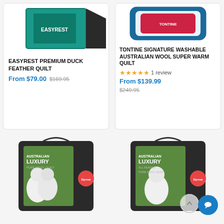[Figure (photo): Easyrest Premium Duck Feather Quilt product image (teal/dark packaging)]
EASYREST PREMIUM DUCK FEATHER QUILT
From $79.00  $169.95
[Figure (photo): Tontine Signature Washable Australian Wool Super Warm Quilt product image (blue/white packaging)]
TONTINE SIGNATURE WASHABLE AUSTRALIAN WOOL SUPER WARM QUILT
1 review
From $139.99  $249.95
[Figure (photo): Epona Australian Luxury Pure Wool Quilt product bag with two lambs on green grass]
[Figure (photo): Epona Australian Luxury All Season Pure Wool Quilt product bag with single lamb on green grass]